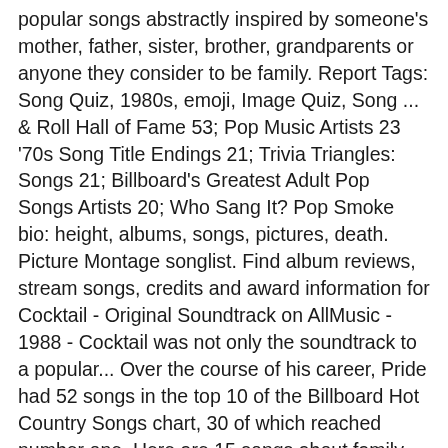popular songs abstractly inspired by someone's mother, father, sister, brother, grandparents or anyone they consider to be family. Report Tags: Song Quiz, 1980s, emoji, Image Quiz, Song ... & Roll Hall of Fame 53; Pop Music Artists 23 '70s Song Title Endings 21; Trivia Triangles: Songs 21; Billboard's Greatest Adult Pop Songs Artists 20; Who Sang It? Pop Smoke bio: height, albums, songs, pictures, death. Picture Montage songlist. Find album reviews, stream songs, credits and award information for Cocktail - Original Soundtrack on AllMusic - 1988 - Cocktail was not only the soundtrack to a popular... Over the course of his career, Pride had 52 songs in the top 10 of the Billboard Hot Country Songs chart, 30 of which reached number one. Here are 15 songs about family. With 20 Years Experience and Over 175 000 Product Online. 1. The rising rap star was so young and talented. 24/7 Wall Street has determined the 100 absolute best songs of all time by creating an index based on sales and more. 18 Songs. Making the Songs Pop in 'Bad Hair' Justin Simien, the writer and director of the 1980s set horror comedy also wrote some of the retro